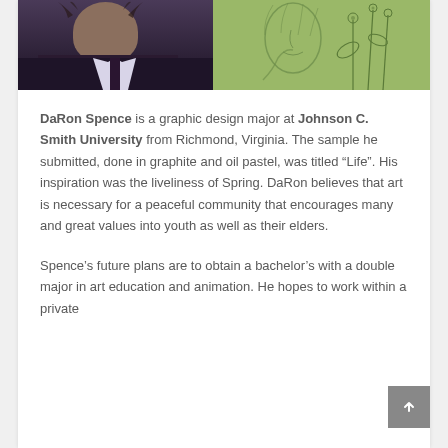[Figure (photo): Two side-by-side images: on the left, a portrait photo of DaRon Spence, a young man in dark clothing with a light collared shirt; on the right, a green-tinted botanical/figure illustration in graphite style.]
DaRon Spence is a graphic design major at Johnson C. Smith University from Richmond, Virginia. The sample he submitted, done in graphite and oil pastel, was titled “Life”. His inspiration was the liveliness of Spring. DaRon believes that art is necessary for a peaceful community that encourages many and great values into youth as well as their elders.
Spence’s future plans are to obtain a bachelor’s with a double major in art education and animation. He hopes to work within a private